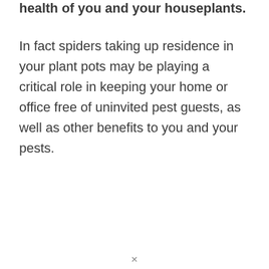health of you and your houseplants.
In fact spiders taking up residence in your plant pots may be playing a critical role in keeping your home or office free of uninvited pest guests, as well as other benefits to you and your pests.
✕